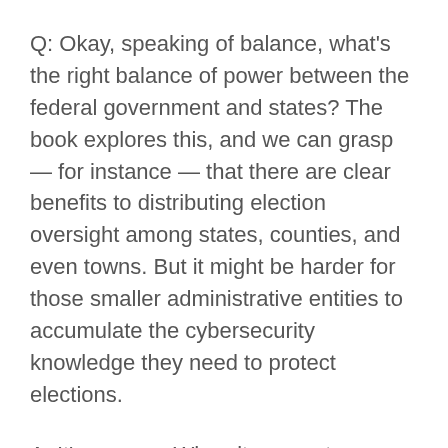Q: Okay, speaking of balance, what's the right balance of power between the federal government and states? The book explores this, and we can grasp — for instance — that there are clear benefits to distributing election oversight among states, counties, and even towns. But it might be harder for those smaller administrative entities to accumulate the cybersecurity knowledge they need to protect elections.
A: It's a mess. When it comes to immigration, it's clear the federal government has the leading role. But there are places where the roles themselves are not clear, including